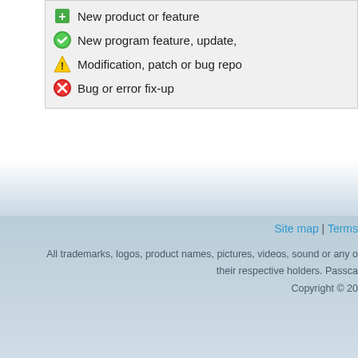✚ New product or feature
✔ New program feature, update,
⚠ Modification, patch or bug repo
✘ Bug or error fix-up
Site map | Terms
All trademarks, logos, product names, pictures, videos, sound or any o their respective holders. Passc Copyright © 20